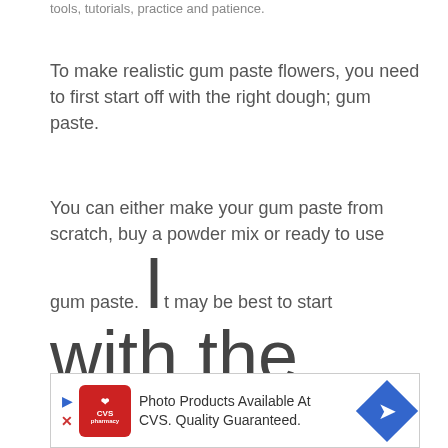tools, tutorials, practice and patience.
To make realistic gum paste flowers, you need to first start off with the right dough; gum paste.
You can either make your gum paste from scratch, buy a powder mix or ready to use gum paste. It may be best to start with the ready to use paste if you want to try your hand at gum paste
[Figure (infographic): CVS Pharmacy advertisement banner: red CVS logo with heart, text 'Photo Products Available At CVS. Quality Guaranteed.', blue diamond arrow icon and navigation controls]